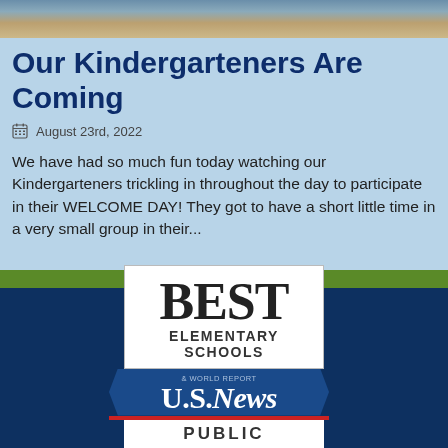[Figure (photo): Photo strip of children at top of page]
Our Kindergarteners Are Coming
August 23rd, 2022
We have had so much fun today watching our Kindergarteners trickling in throughout the day to participate in their WELCOME DAY! They got to have a short little time in a very small group in their...
[Figure (logo): U.S. News & World Report Best Elementary Schools 2022 Public badge on dark blue background]